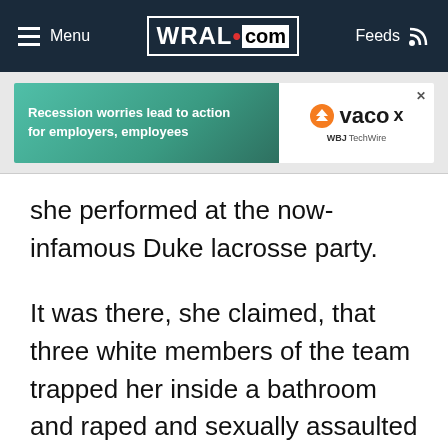Menu | WRAL.com | Feeds
[Figure (other): Advertisement banner: 'Recession worries lead to action for employers, employees' with vaco and WBJTechWire logos]
she performed at the now-infamous Duke lacrosse party.
It was there, she claimed, that three white members of the team trapped her inside a bathroom and raped and sexually assaulted her.
The three players were indicted on rape and other charges on the basis of her allegations